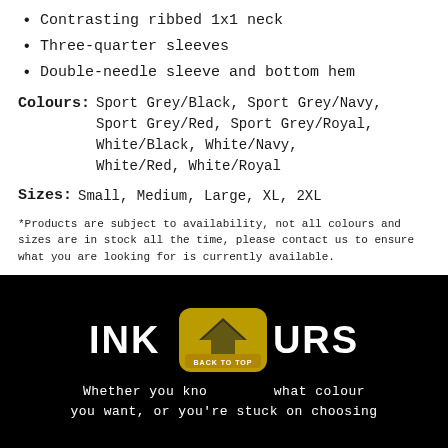Contrasting ribbed 1x1 neck
Three-quarter sleeves
Double-needle sleeve and bottom hem
Colours: Sport Grey/Black, Sport Grey/Navy, Sport Grey/Red, Sport Grey/Royal, White/Black, White/Navy, White/Red, White/Royal
Sizes: Small, Medium, Large, XL, 2XL
*Products are subject to availability, not all colours and sizes are in stock all the time, please contact us to ensure what you are looking for is currently available.
[Figure (logo): INK COLOURS logo with a gold badge overlay showing a chevron/paint icon and 'BACK TO TOP' label, on black background, with text 'Whether you know what colour you want, or you're stuck on choosing']